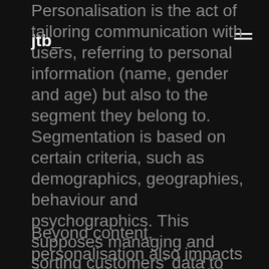jtb_
Personalisation is the act of tailoring communication with users, referring to personal information (name, gender and age) but also to the segment they belong to.
Segmentation is based on certain criteria, such as demographics, geographies, behaviour and psychographics. This supposes managing and sorting customers' data to create segmented lists to deliver more relevant emails. Using personal information opens up communications' opportunities, by sending messages on special occasions such as birthdays and anniversaries, as well as thank you and welcome emails.
Beyond content, personalisation also impacts the email frequency and time of sends. By studying customers' details and journeys, I can identify when and how often they will want to be